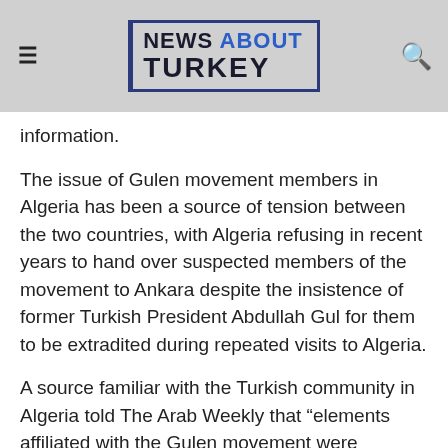NEWS ABOUT TURKEY
information.
The issue of Gulen movement members in Algeria has been a source of tension between the two countries, with Algeria refusing in recent years to hand over suspected members of the movement to Ankara despite the insistence of former Turkish President Abdullah Gul for them to be extradited during repeated visits to Algeria.
A source familiar with the Turkish community in Algeria told The Arab Weekly that “elements affiliated with the Gulen movement were surprised